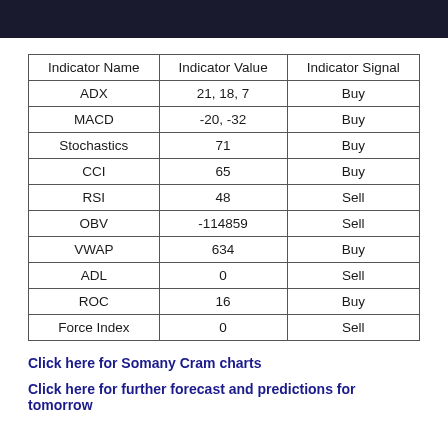| Indicator Name | Indicator Value | Indicator Signal |
| --- | --- | --- |
| ADX | 21, 18, 7 | Buy |
| MACD | -20, -32 | Buy |
| Stochastics | 71 | Buy |
| CCI | 65 | Buy |
| RSI | 48 | Sell |
| OBV | -114859 | Sell |
| VWAP | 634 | Buy |
| ADL | 0 | Sell |
| ROC | 16 | Buy |
| Force Index | 0 | Sell |
Click here for Somany Cram charts
Click here for further forecast and predictions for tomorrow